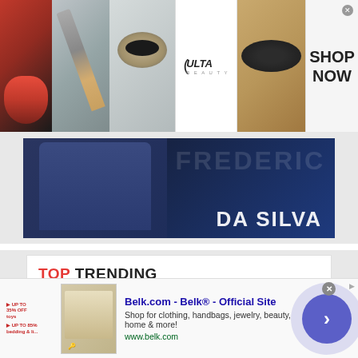[Figure (photo): Top ad banner for Ulta Beauty with makeup photos (lips, brush, eye), Ulta logo, and SHOP NOW call to action button]
[Figure (photo): Dark blue promotional banner with text 'DA SILVA' and a partial figure in athletic wear]
TOP TRENDING
[Figure (photo): Thumbnail image for trending article 'A Winning Lottery']
A Winning Lottery
We use cookies on our website to give you the most relevant experience by remembering your preferences and repeat visits. By clicking “Accept,” you consent to the use of ALL the
[Figure (screenshot): Belk.com advertisement: Belk® - Official Site. Shop for clothing, handbags, jewelry, beauty, home & more! www.belk.com with navigation arrow button]